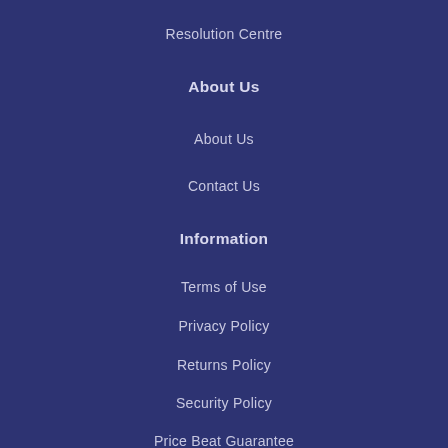Resolution Centre
About Us
About Us
Contact Us
Information
Terms of Use
Privacy Policy
Returns Policy
Security Policy
Price Beat Guarantee